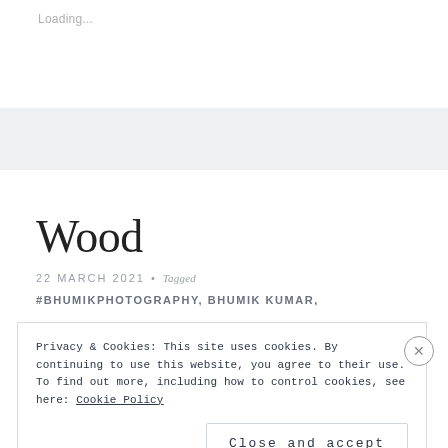Loading...
Wood
22 MARCH 2021 • Tagged
#BHUMIKPHOTOGRAPHY, BHUMIK KUMAR,
Privacy & Cookies: This site uses cookies. By continuing to use this website, you agree to their use.
To find out more, including how to control cookies, see here: Cookie Policy
Close and accept